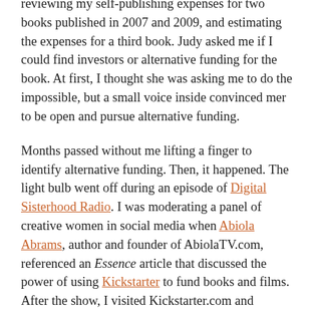reviewing my self-publishing expenses for two books published in 2007 and 2009, and estimating the expenses for a third book. Judy asked me if I could find investors or alternative funding for the book. At first, I thought she was asking me to do the impossible, but a small voice inside convinced mer to be open and pursue alternative funding.
Months passed without me lifting a finger to identify alternative funding. Then, it happened. The light bulb went off during an episode of Digital Sisterhood Radio. I was moderating a panel of creative women in social media when Abiola Abrams, author and founder of AbiolaTV.com, referenced an Essence article that discussed the power of using Kickstarter to fund books and films. After the show, I visited Kickstarter.com and learned about several authors who used it to raise money for their books. Their success inspired me to take the plunge.